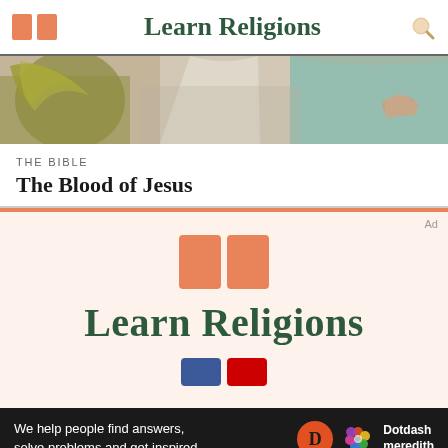Learn Religions
[Figure (illustration): Cropped religious painting showing figures with robes and outstretched hands, muted earthy tones]
THE BIBLE
The Blood of Jesus
[Figure (logo): Learn Religions logo — two orange book icons above large dark green 'Learn Religions' text, on pale peach background]
We help people find answers, solve problems and get inspired.
[Figure (logo): Dotdash Meredith logo with orange D circle and colorful flower icon]